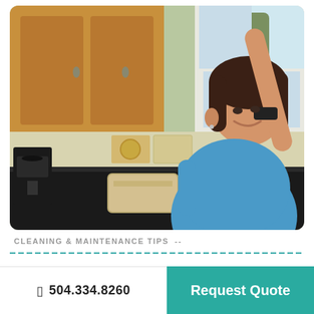[Figure (photo): A woman in a blue t-shirt reaching up to open a kitchen cabinet, smiling. Kitchen background with dark granite countertops, wood cabinets, decorative tiles, a coffee maker, and a window.]
CLEANING & MAINTENANCE TIPS
504.334.8260
Request Quote